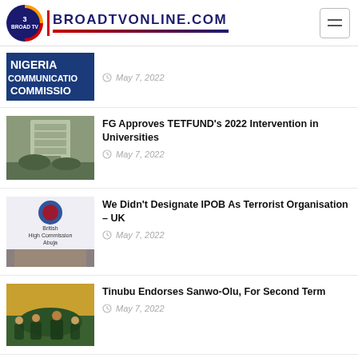BROADTVONLINE.COM
[Figure (screenshot): Nigeria Communication Commission partial logo/banner (cropped)]
May 7, 2022
FG Approves TETFUND’s 2022 Intervention in Universities
May 7, 2022
[Figure (photo): British High Commission Abuja logo and crowd photo]
We Didn’t Designate IPOB As Terrorist Organisation – UK
May 7, 2022
[Figure (photo): Tinubu at a political rally, crowd in background]
Tinubu Endorses Sanwo-Olu, For Second Term
May 7, 2022